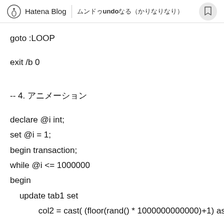Hatena Blog | ундоうにー(かりなりなり)
goto :LOOP
exit /b 0
-- 4. □□□□□
declare @i int;
set @i = 1;
begin transaction;
while @i <= 1000000
begin
    update tab1 set
            col2 = cast( (floor(rand() * 1000000000000)+1) as